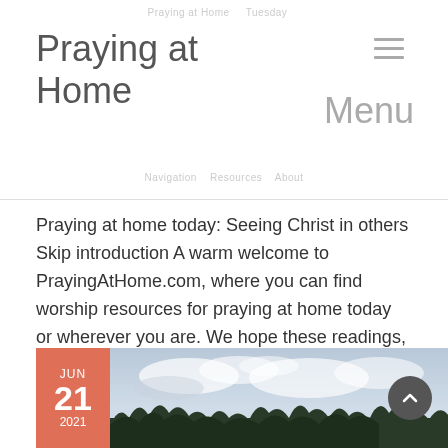Praying at Home  ☰  Menu
Praying at home today: Seeing Christ in others Skip introduction A warm welcome to PrayingAtHome.com, where you can find worship resources for praying at home today or wherever you are. We hope these readings, prayers, music and the short reflection will help…
Continue reading →
[Figure (photo): Landscape photo with cloudy sky and tree silhouettes at the bottom, with a date badge showing JUN 21 2021 in coral/red color on the left side]